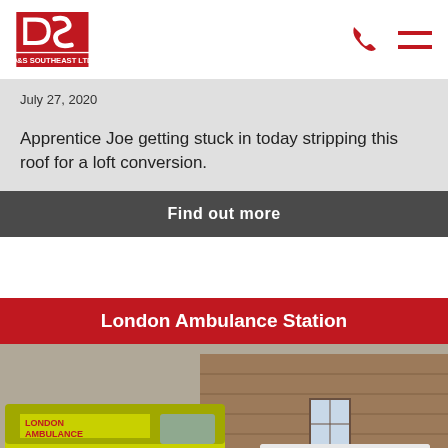D&S SOUTHEAST LTD
July 27, 2020
Apprentice Joe getting stuck in today stripping this roof for a loft conversion.
Find out more
[Figure (photo): London Ambulance Station project card showing a London Ambulance vehicle and D&S Southeast Ltd van with two workers standing in front of a brick building]
London Ambulance Station